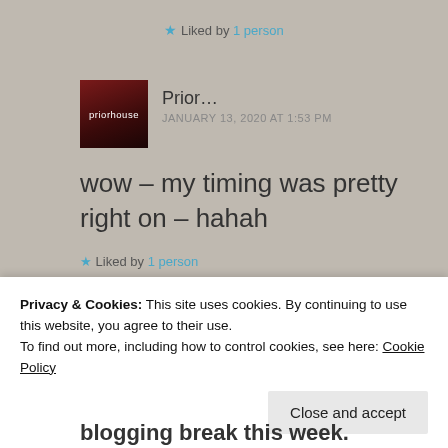★ Liked by 1 person
Prior…
JANUARY 13, 2020 AT 1:53 PM
wow – my timing was pretty right on – hahah
★ Liked by 1 person
Terri Webster Schrandt
Privacy & Cookies: This site uses cookies. By continuing to use this website, you agree to their use.
To find out more, including how to control cookies, see here: Cookie Policy
Close and accept
blogging break this week.